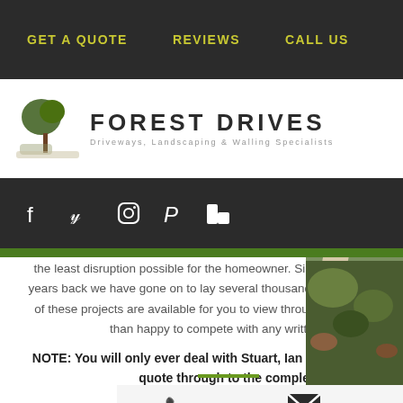GET A QUOTE   REVIEWS   CALL US
[Figure (logo): Forest Drives logo with tree icon and text: FOREST DRIVES, Driveways, Landscaping & Walling Specialists]
[Figure (infographic): Social media icons bar: Facebook, Twitter, Instagram, Pinterest, Houzz on dark background]
the least disruption possible for the homeowner. Since our first contract over 30 years back we have gone on to lay several thousand driveways and patios. Many of these projects are available for you to view throughout our site. We are more than happy to compete with any written quotations.
NOTE: You will only ever deal with Stuart, Ian or Mark Rabey from initial quote through to the completed job.
[Figure (photo): Garden landscaping photo showing curved stone path, lawn and planted borders]
Phone icon, Email icon, Menu icon